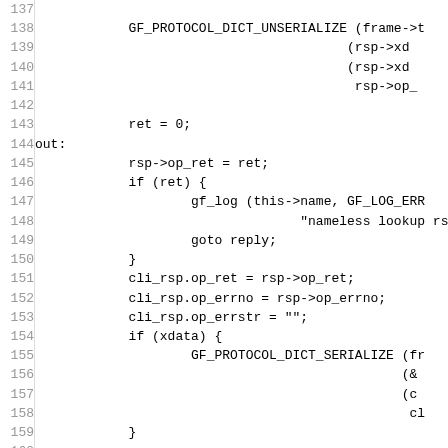[Figure (screenshot): Source code listing showing lines 137-166 of a C program, displaying code for GF_PROTOCOL_DICT_UNSERIALIZE, ret assignment, out label, error handling with gf_log, goto reply, cli_rsp assignments, GF_PROTOCOL_DICT_SERIALIZE, reply label, quotad_aggregator_submit_reply, dict_unref, GF_FREE]